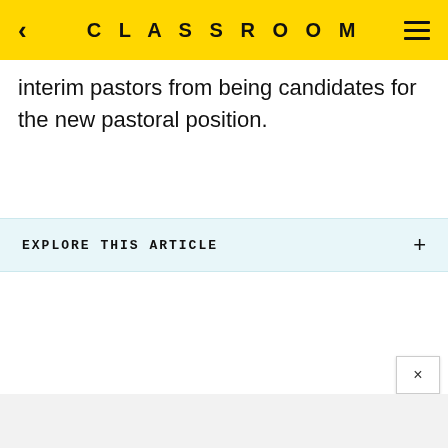CLASSROOM
interim pastors from being candidates for the new pastoral position.
EXPLORE THIS ARTICLE